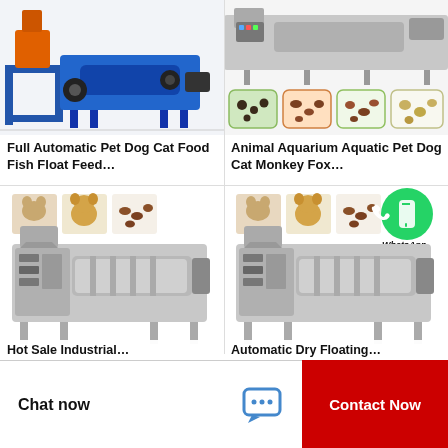[Figure (photo): Blue industrial pet food extruder machine with orange hoppers]
Full Automatic Pet Dog Cat Food Fish Float Feed…
[Figure (photo): Silver/grey industrial fish food machine with four sample kibble images]
Animal Aquarium Aquatic Pet Dog Cat Monkey Fox…
[Figure (photo): Silver industrial pet food extruder with cat and dog thumbnail images above]
[Figure (photo): Silver industrial pet food extruder with cat and dog thumbnails and WhatsApp Online badge]
Hot Sale Industrial…
Automatic Dry Floating…
Chat now
Contact Now